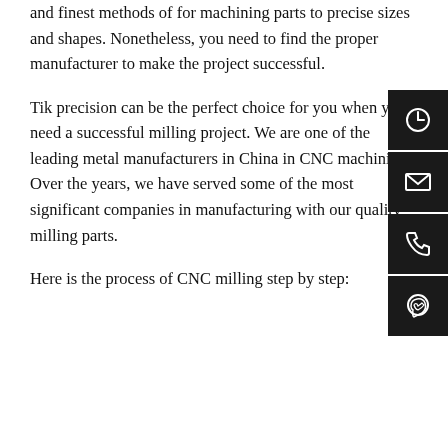and finest methods of for machining parts to precise sizes and shapes. Nonetheless, you need to find the proper manufacturer to make the project successful.
Tik precision can be the perfect choice for you when you need a successful milling project. We are one of the leading metal manufacturers in China in CNC machining. Over the years, we have served some of the most significant companies in manufacturing with our quality milling parts.
Here is the process of CNC milling step by step:
[Figure (other): Sidebar with four dark buttons: clock/hours icon, envelope/email icon, phone icon, WhatsApp icon]